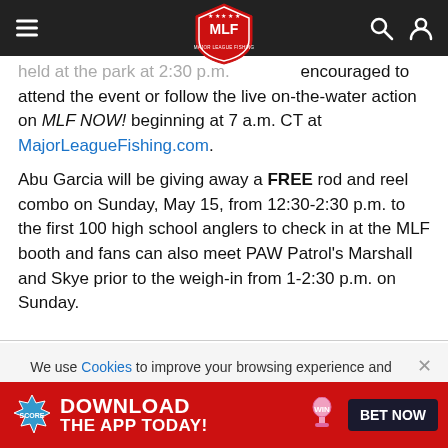MLF - Major League Fishing header navigation
held at the park at 2:30 p.m. are encouraged to attend the event or follow the live on-the-water action on MLF NOW! beginning at 7 a.m. CT at MajorLeagueFishing.com.
Abu Garcia will be giving away a FREE rod and reel combo on Sunday, May 15, from 12:30-2:30 p.m. to the first 100 high school anglers to check in at the MLF booth and fans can also meet PAW Patrol's Marshall and Skye prior to the weigh-in from 1-2:30 p.m. on Sunday.
We use Cookies to improve your browsing experience and help us improve our website. Our Privacy Policy and Terms of Service have changed. Click OK to agree.
[Figure (screenshot): Red advertisement banner: DOWNLOAD THE APP TODAY! with WIN trophy icon and BET NOW button]